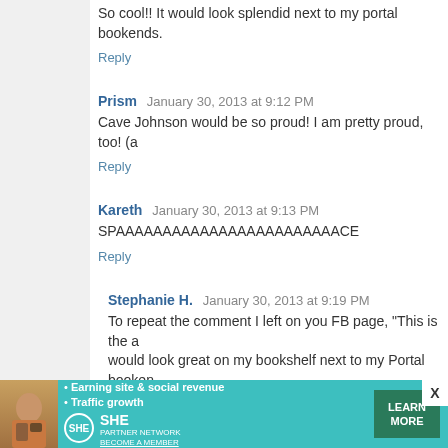So cool!! It would look splendid next to my portal bookends.
Reply
Prism  January 30, 2013 at 9:12 PM
Cave Johnson would be so proud! I am pretty proud, too! (a
Reply
Kareth  January 30, 2013 at 9:13 PM
SPAAAAAAAAAAAAAAAAAAAAAAAACE
Reply
Stephanie H.  January 30, 2013 at 9:19 PM
To repeat the comment I left on you FB page, "This is the a would look great on my bookshelf next to my Portal booken
Reply
Unknown  January 30, 2013 at 9:20 PM
[Figure (infographic): SHE Partner Network advertisement banner: Earning site & social revenue, Traffic growth, Learn More button]